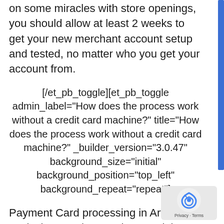on some miracles with store openings, you should allow at least 2 weeks to get your new merchant account setup and tested, no matter who you get your account from.
[/et_pb_toggle][et_pb_toggle admin_label="How does the process work without a credit card machine?" title="How does the process work without a credit card machine?" _builder_version="3.0.47" background_size="initial" background_position="top_left" background_repeat="repeat"]
Payment Card processing in Artisan works by, you the merchant, swiping a card into a small magnetic stripe reader (MSR) that connects USB port. The transaction request then gets sent